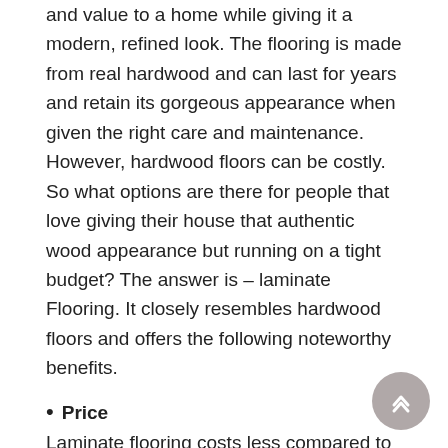and value to a home while giving it a modern, refined look. The flooring is made from real hardwood and can last for years and retain its gorgeous appearance when given the right care and maintenance. However, hardwood floors can be costly. So what options are there for people that love giving their house that authentic wood appearance but running on a tight budget? The answer is – laminate Flooring. It closely resembles hardwood floors and offers the following noteworthy benefits.
• Price
Laminate flooring costs less compared to its hardwood counterpart. It is made from composite wood, compressed at high temperatures before an overlay mimicking hardwood is applied on the